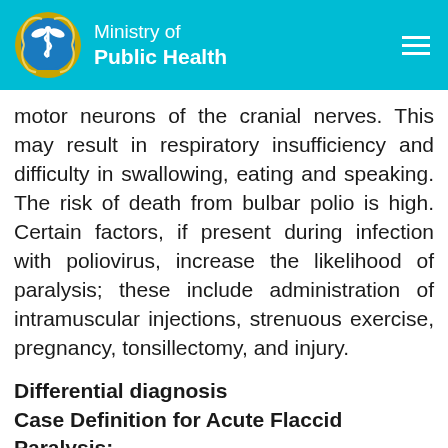Ministry of Public Health
motor neurons of the cranial nerves. This may result in respiratory insufficiency and difficulty in swallowing, eating and speaking. The risk of death from bulbar polio is high. Certain factors, if present during infection with poliovirus, increase the likelihood of paralysis; these include administration of intramuscular injections, strenuous exercise, pregnancy, tonsillectomy, and injury.
Differential diagnosis
Case Definition for Acute Flaccid Paralysis:
Recent onset of floppy weakness or paralysis